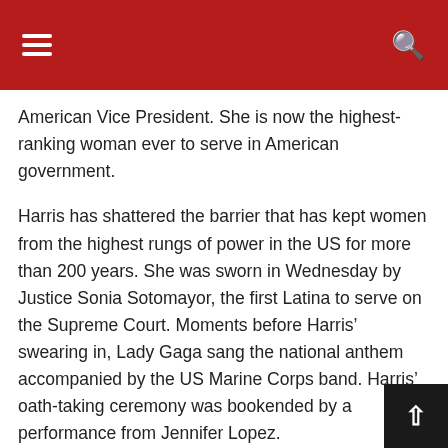Navigation header with hamburger menu and search icon
American Vice President. She is now the highest-ranking woman ever to serve in American government.
Harris has shattered the barrier that has kept women from the highest rungs of power in the US for more than 200 years. She was sworn in Wednesday by Justice Sonia Sotomayor, the first Latina to serve on the Supreme Court. Moments before Harris' swearing in, Lady Gaga sang the national anthem accompanied by the US Marine Corps band. Harris' oath-taking ceremony was bookended by a performance from Jennifer Lopez.
Dressed in a deep purple dress and coat crafted by Black designers, Harris placed her left hand on two Bibles with deep meaning in her life and political rise as she raised her right hand to swear the oath of office. One of the